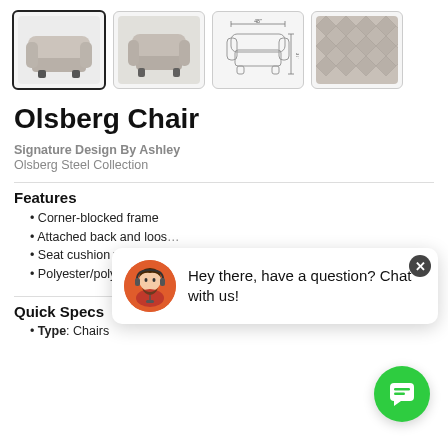[Figure (photo): Four product thumbnails of the Olsberg Chair: main chair view (selected with bold border), lifestyle room view, dimension diagram, and fabric close-up texture.]
Olsberg Chair
Signature Design By Ashley
Olsberg Steel Collection
Features
Corner-blocked frame
Attached back and loos...
Seat cushion with ultra-...
Polyester/polyurethane ...
[Figure (screenshot): Chat popup overlay with avatar and text: Hey there, have a question? Chat with us!]
Quick Specs
Type: Chairs